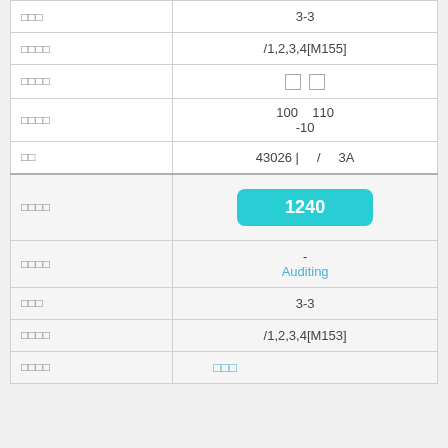| Field | Value |
| --- | --- |
| □□□ | 3-3 |
| □□□□ | /1,2,3,4[M155] |
| □□□□ | □  □ |
| □□□□ | 100  110
-10 |
| □□ | 43026 |  /  3A |
| □□□□ | 1240 |
| □□□□ | -
Auditing |
| □□□ | 3-3 |
| □□□□ | /1,2,3,4[M153] |
| □□□□ | □□□ |